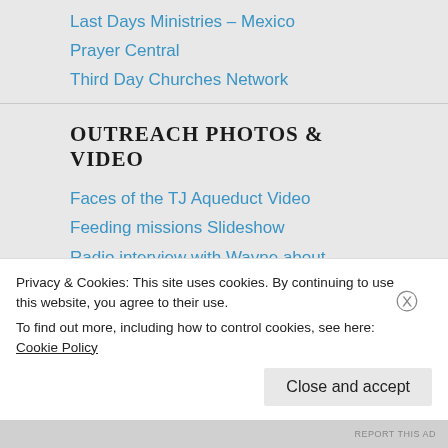Last Days Ministries – Mexico
Prayer Central
Third Day Churches Network
OUTREACH PHOTOS & VIDEO
Faces of the TJ Aqueduct Video
Feeding missions Slideshow
Radio interview with Wayne about Mexico on Prophetic Underground Radio
Roofing project in Tecate Mexico Photos
Shoe Mobile Outreach Photos
Tijuana River Aqueduct Outreach Photos
VOB Mexico Ministries Documentary
Privacy & Cookies: This site uses cookies. By continuing to use this website, you agree to their use. To find out more, including how to control cookies, see here: Cookie Policy
Close and accept